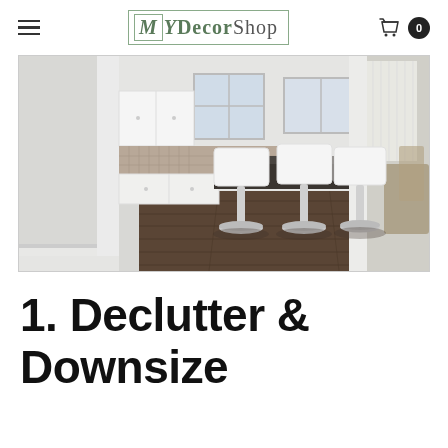MyDecorShop
[Figure (photo): Interior photo of a modern kitchen with white cabinets, granite island countertop, three white bar stools with chrome bases on dark hardwood flooring, mosaic tile backsplash, and a glimpse of a dining area in the background.]
1. Declutter & Downsize